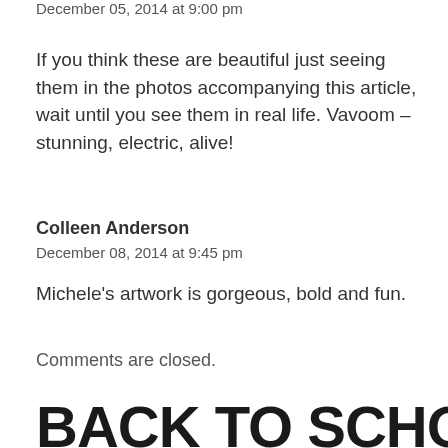December 05, 2014 at 9:00 pm
If you think these are beautiful just seeing them in the photos accompanying this article, wait until you see them in real life. Vavoom – stunning, electric, alive!
Colleen Anderson
December 08, 2014 at 9:45 pm
Michele's artwork is gorgeous, bold and fun.
Comments are closed.
BACK TO SCHOOL